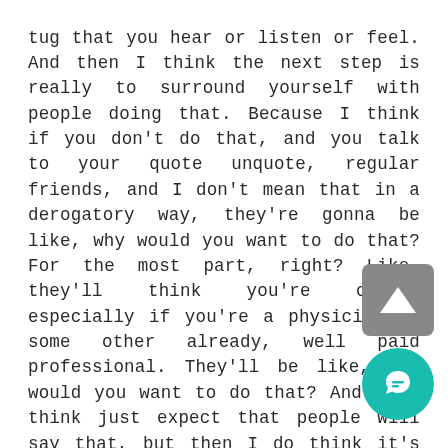tug that you hear or listen or feel. And then I think the next step is really to surround yourself with people doing that. Because I think if you don't do that, and you talk to your quote unquote, regular friends, and I don't mean that in a derogatory way, they're gonna be like, why would you want to do that? For the most part, right? Like, they'll think you're crazy, especially if you're a physician or some other already, well paid professional. They'll be like, why would you want to do that? And so I think just expect that people will say that, but then I do think it's important to surround yourself with people. And, you and I are both in the leverage and growth accelerator community. So I think communities like that are just so important. Not just for the support, but also to see so many people are doing this because I